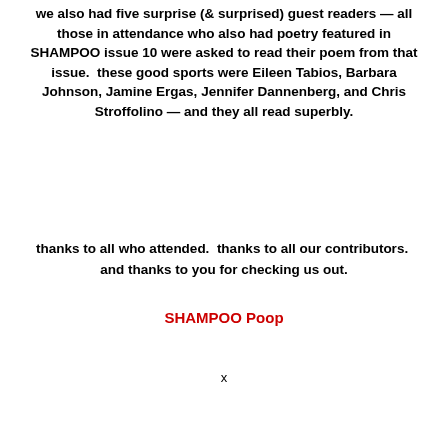we also had five surprise (& surprised) guest readers — all those in attendance who also had poetry featured in SHAMPOO issue 10 were asked to read their poem from that issue.  these good sports were Eileen Tabios, Barbara Johnson, Jamine Ergas, Jennifer Dannenberg, and Chris Stroffolino — and they all read superbly.
thanks to all who attended.  thanks to all our contributors.  and thanks to you for checking us out.
SHAMPOO Poop
x